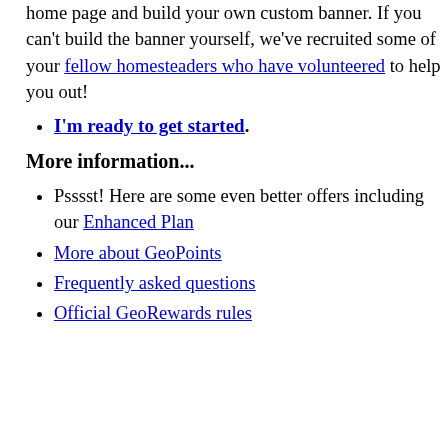home page and build your own custom banner. If you can't build the banner yourself, we've recruited some of your fellow homesteaders who have volunteered to help you out!
I'm ready to get started.
More information...
Psssst! Here are some even better offers including our Enhanced Plan
More about GeoPoints
Frequently asked questions
Official GeoRewards rules